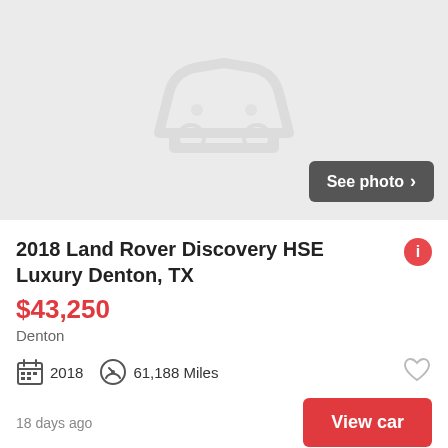[Figure (illustration): Car placeholder icon on grey background with 'See photo' button in dark grey]
2018 Land Rover Discovery HSE Luxury Denton, TX
$43,250
Denton
2018   61,188 Miles
18 days ago
View car
[Figure (photo): Partial outdoor photo showing trees and a building/fence in background]